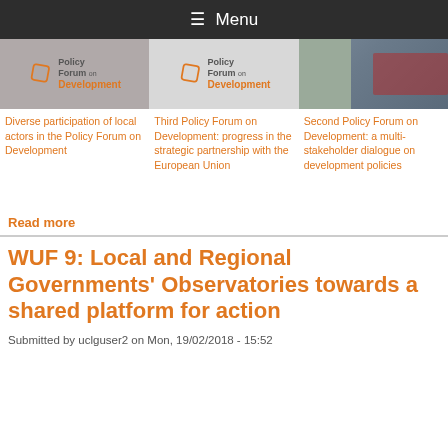☰ Menu
[Figure (photo): Policy Forum on Development logo on gray background]
[Figure (photo): Policy Forum on Development logo on light gray background]
[Figure (photo): Photo of people at a conference/meeting room]
Diverse participation of local actors in the Policy Forum on Development
Third Policy Forum on Development: progress in the strategic partnership with the European Union
Second Policy Forum on Development: a multi-stakeholder dialogue on development policies
Read more
WUF 9: Local and Regional Governments' Observatories towards a shared platform for action
Submitted by uclguser2 on Mon, 19/02/2018 - 15:52